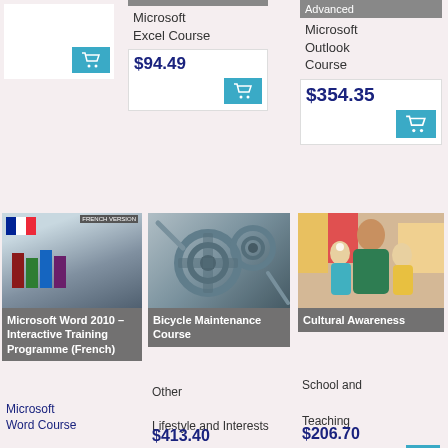[Figure (screenshot): Cart button for partially visible product card]
Microsoft Excel Course
$94.49
Advanced
Microsoft Outlook Course
$354.35
[Figure (photo): Microsoft Word 2010 – Interactive Training Programme (French) course card with books and laptop image with French flag]
Microsoft Word Course
[Figure (photo): Bicycle Maintenance Course card with gears and tools image]
Other

Lifestyle and Interests
$413.40
[Figure (photo): Cultural Awareness course card with photo of a teacher and two children]
School and

Teaching

Environment
$206.70